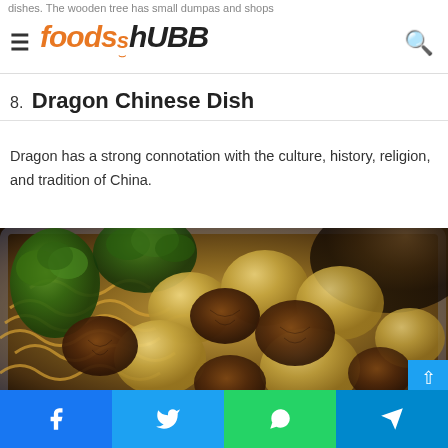FoodsHUBB navigation bar with logo and search icon
dishes. The wooden tree has small dumpas and shops
8. Dragon Chinese Dish
Dragon has a strong connotation with the culture, history, religion, and tradition of China.
[Figure (photo): A plate of Dragon Chinese Dish featuring noodles, glazed scallops or dumplings, walnuts, and broccoli on a blue-rimmed plate]
Social sharing bar with Facebook, Twitter, WhatsApp, and Telegram buttons